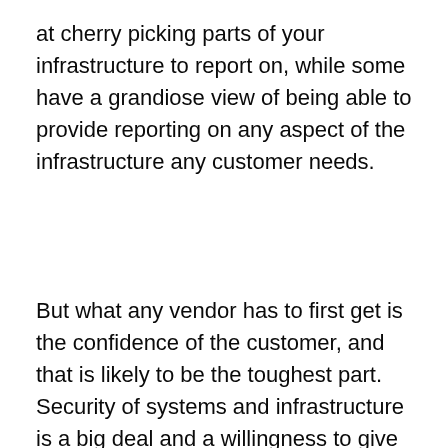at cherry picking parts of your infrastructure to report on, while some have a grandiose view of being able to provide reporting on any aspect of the infrastructure any customer needs.
But what any vendor has to first get is the confidence of the customer, and that is likely to be the toughest part. Security of systems and infrastructure is a big deal and a willingness to give